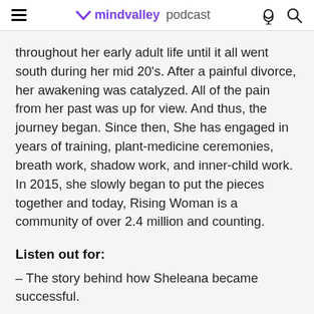mindvalley podcast
throughout her early adult life until it all went south during her mid 20's. After a painful divorce, her awakening was catalyzed. All of the pain from her past was up for view. And thus, the journey began. Since then, She has engaged in years of training, plant-medicine ceremonies, breath work, shadow work, and inner-child work. In 2015, she slowly began to put the pieces together and today, Rising Woman is a community of over 2.4 million and counting.
Listen out for:
– The story behind how Sheleana became successful.
– The definition of a conscious relationship.